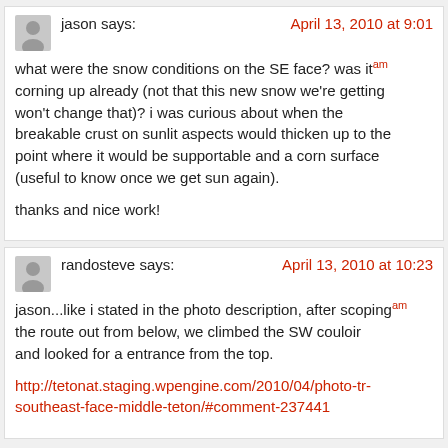jason says: April 13, 2010 at 9:01 am
what were the snow conditions on the SE face? was it corning up already (not that this new snow we're getting won't change that)? i was curious about when the breakable crust on sunlit aspects would thicken up to the point where it would be supportable and a corn surface (useful to know once we get sun again).

thanks and nice work!
randosteve says: April 13, 2010 at 10:23 am
jason...like i stated in the photo description, after scoping the route out from below, we climbed the SW couloir and looked for a entrance from the top.

http://tetonat.staging.wpengine.com/2010/04/photo-tr-southeast-face-middle-teton/#comment-237441